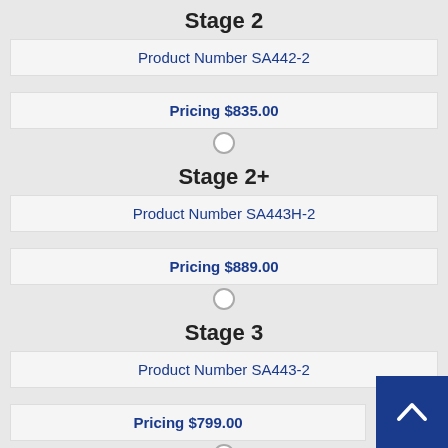Stage 2
Product Number SA442-2
Pricing $835.00
Stage 2+
Product Number SA443H-2
Pricing $889.00
Stage 3
Product Number SA443-2
Pricing $799.00
Stage 3+
Product Number SA443F-2